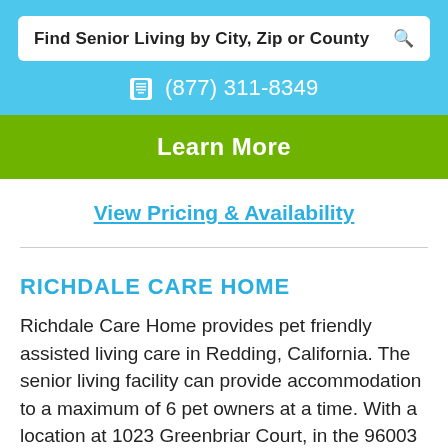Find Senior Living by City, Zip or County
(877) 311-8349
Learn More
View Pricing & Availability
RICHDALE CARE HOME
Richdale Care Home provides pet friendly assisted living care in Redding, California. The senior living facility can provide accommodation to a maximum of 6 pet owners at a time. With a location at 1023 Greenbriar Court, in the 96003 area code inside Shasta county, Richdale Care Home